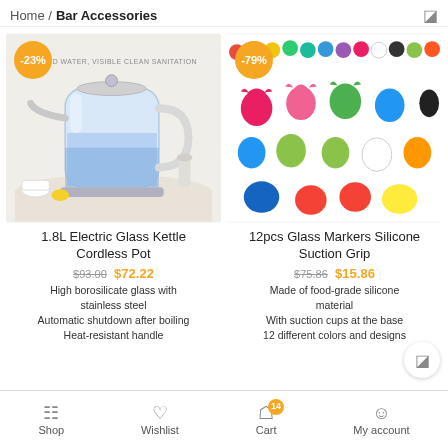Home / Bar Accessories
[Figure (photo): Glass electric kettle (1.8L) with blue water inside, stainless steel base, on a white table with cups and lemon. Badge: -23%. Text overlay: BOILED WATER, VISIBLE CLEAN SANITATION]
[Figure (photo): 12 colorful silicone animal-shaped glass markers/charms in various colors (red, pink, green, blue, yellow, black, white, orange). Badge: -79%.]
1.8L Electric Glass Kettle Cordless Pot
12pcs Glass Markers Silicone Suction Grip
$93.00  $72.22
$75.86  $15.86
High borosilicate glass with stainless steel
Automatic shutdown after boiling
Heat-resistant handle
Made of food-grade silicone material
With suction cups at the base
12 different colors and designs
Shop   Wishlist   Cart (14)   My account